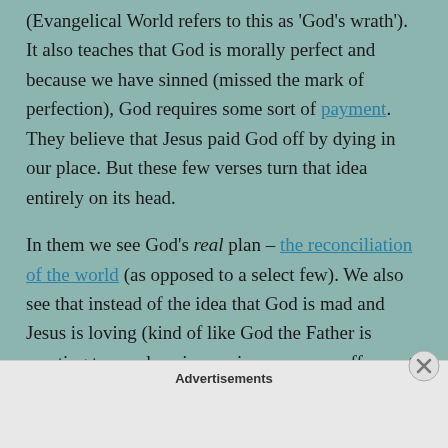(Evangelical World refers to this as 'God's wrath'). It also teaches that God is morally perfect and because we have sinned (missed the mark of perfection), God requires some sort of payment. They believe that Jesus paid God off by dying in our place. But these few verses turn that idea entirely on its head.
In them we see God's real plan – the reconciliation of the world (as opposed to a select few). We also see that instead of the idea that God is mad and Jesus is loving (kind of like God the Father is wanting to spank us in a serious way – snuff us out – because of our
Advertisements